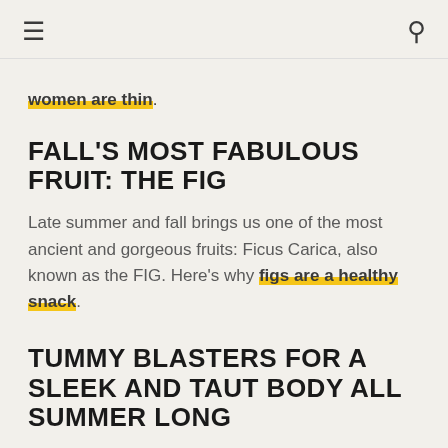≡  🔍
women are thin.
FALL'S MOST FABULOUS FRUIT: THE FIG
Late summer and fall brings us one of the most ancient and gorgeous fruits: Ficus Carica, also known as the FIG. Here's why figs are a healthy snack.
TUMMY BLASTERS FOR A SLEEK AND TAUT BODY ALL SUMMER LONG
Whether you plan to live at the beach or in a concrete jungle, you want to look great. Earlier, I wrote about getting a BIKINI BODY in one week, mainly through